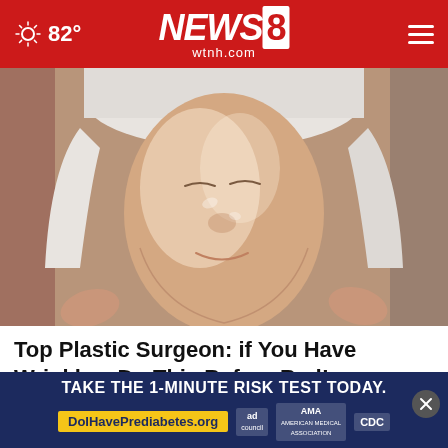82° NEWS8 wtnh.com
[Figure (photo): Close-up of a woman's face with eyes closed, receiving a skin treatment, face covered in a glossy substance, wearing a white towel on her head]
Top Plastic Surgeon: if You Have Wrinkles, Do This Before Bed!
Extremely Effective Anti-aging
[Figure (photo): Partial view of people in a medical or clinical setting]
TAKE THE 1-MINUTE RISK TEST TODAY. DoIHavePrediabetes.org